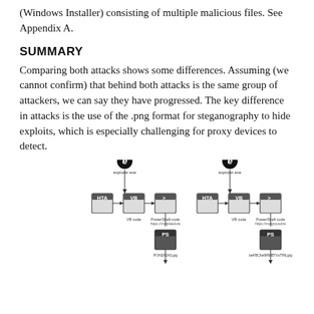(Windows Installer) consisting of multiple malicious files. See Appendix A.
SUMMARY
Comparing both attacks shows some differences. Assuming (we cannot confirm) that behind both attacks is the same group of attackers, we can say they have progressed. The key difference in attacks is the use of the .png format for steganography to hide exploits, which is especially challenging for proxy devices to detect.
[Figure (flowchart): Two parallel attack chain diagrams. Left chain: explorer.exe (IE icon) at top, arrow down to HTA file, arrow right to VB (VB code), arrow right to PowerShell script (PowerShell code), arrow down with URL https://malplaedure to PS file (POKER243.jpg), arrow down. Right chain: explorer.exe (IE icon) at top, arrow down to HTA file, arrow right to VB (VB code), arrow right to PowerShell script (PowerShell code), arrow down with URL https://malgrousdire to PS file (beFBCha9RMBTVsTR6.jpg), arrow down.]